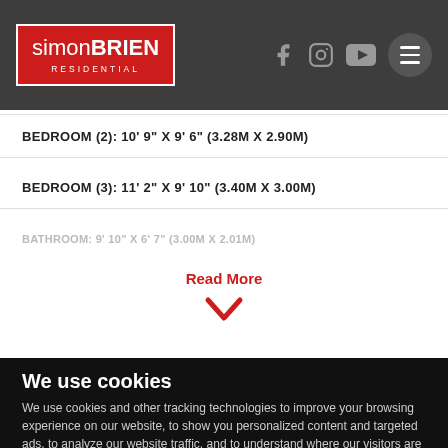[Figure (logo): Simon Brien Residential logo - white text on red background with white border]
BEDROOM (2): 10' 9" X 9' 6" (3.28m X 2.90m)
BEDROOM (3): 11' 2" X 9' 10" (3.40m X 3.00m)
BATHROOM: 9' 10" X 6' 7" (3.00m X 2.01m)
Read More
We use cookies
We use cookies and other tracking technologies to improve your browsing experience on our website, to show you personalized content and targeted ads, to analyze our website traffic, and to understand where our visitors are coming